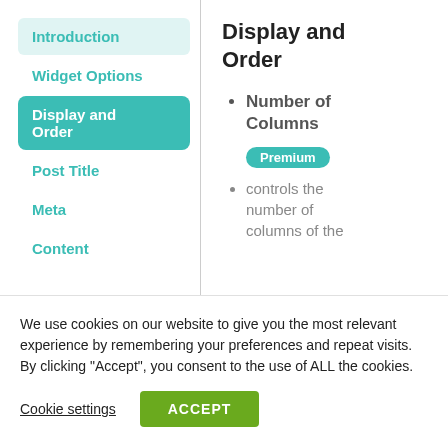Introduction
Widget Options
Display and Order
Post Title
Meta
Content
Display and Order
Number of Columns
Premium
controls the number of columns of the
We use cookies on our website to give you the most relevant experience by remembering your preferences and repeat visits. By clicking “Accept”, you consent to the use of ALL the cookies.
Cookie settings
ACCEPT